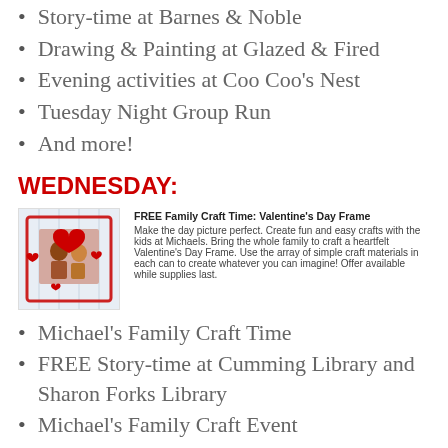Story-time at Barnes & Noble
Drawing & Painting at Glazed & Fired
Evening activities at Coo Coo's Nest
Tuesday Night Group Run
And more!
WEDNESDAY:
[Figure (photo): Valentine's Day Frame craft kit showing a red heart picture frame with a family photo inside, decorated with hearts on a light background]
FREE Family Craft Time: Valentine's Day Frame
Make the day picture perfect. Create fun and easy crafts with the kids at Michaels. Bring the whole family to craft a heartfelt Valentine's Day Frame. Use the array of simple craft materials in each can to create whatever you can imagine! Offer available while supplies last.
Michael's Family Craft Time
FREE Story-time at Cumming Library and Sharon Forks Library
Michael's Family Craft Event
Trivia at Coo Coo's Nest